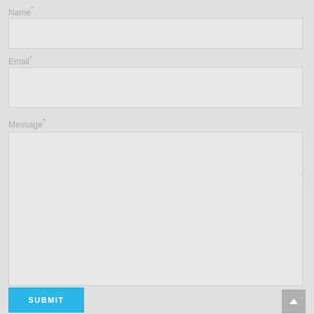Name*
[Figure (screenshot): Empty text input field for Name]
Email*
[Figure (screenshot): Empty text input field for Email]
Message*
[Figure (screenshot): Empty textarea field for Message with resize handle]
[Figure (screenshot): Blue SUBMIT button]
[Figure (screenshot): Gray scroll-to-top button with upward arrow]